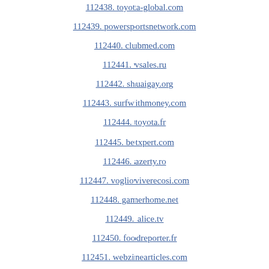112438. toyota-global.com
112439. powersportsnetwork.com
112440. clubmed.com
112441. vsales.ru
112442. shuaigay.org
112443. surfwithmoney.com
112444. toyota.fr
112445. betxpert.com
112446. azerty.ro
112447. voglioviverecosi.com
112448. gamerhome.net
112449. alice.tv
112450. foodreporter.fr
112451. webzinearticles.com
112452. u-bit.tv